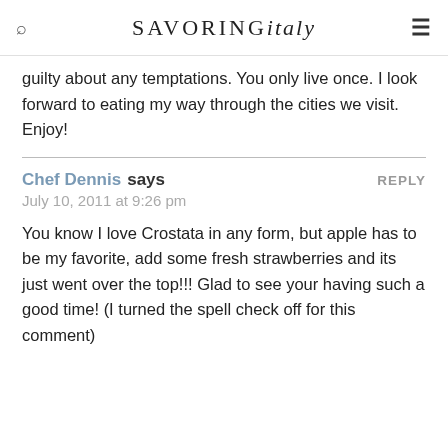SAVORING italy
guilty about any temptations. You only live once. I look forward to eating my way through the cities we visit. Enjoy!
Chef Dennis says — July 10, 2011 at 9:26 pm — REPLY
You know I love Crostata in any form, but apple has to be my favorite, add some fresh strawberries and its just went over the top!!! Glad to see your having such a good time! (I turned the spell check off for this comment)